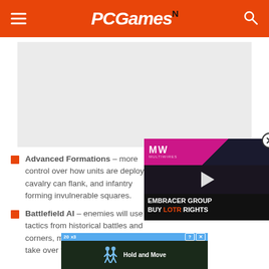PCGamesN
[Figure (other): Gray advertisement placeholder rectangle]
Advanced Formations – more control over how units are deployed, cavalry can flank, and infantry forming invulnerable squares.
Battlefield AI – enemies will use real tactics from historical battles and corners, making it harder for you to take over the world.
[Figure (screenshot): Video advertisement overlay showing MW logo on pink/magenta banner, dark background with face, text: EMBRACER GROUP BUY LOTR RIGHTS]
[Figure (screenshot): Bottom banner ad with blue bar, game UI showing Hold and Move text]